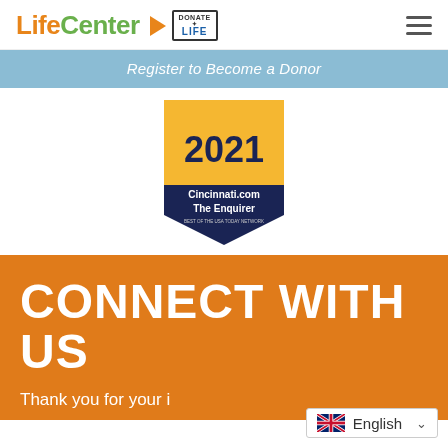[Figure (logo): LifeCenter logo with orange play button and Donate Life badge]
Register to Become a Donor
[Figure (other): 2021 Cincinnati.com The Enquirer award badge with gold and navy blue pennant design]
CONNECT WITH US
Thank you for your i...
English